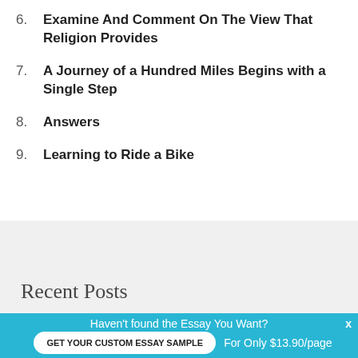6. Examine And Comment On The View That Religion Provides
7. A Journey of a Hundred Miles Begins with a Single Step
8. Answers
9. Learning to Ride a Bike
Recent Posts
Haven't found the Essay You Want?
GET YOUR CUSTOM ESSAY SAMPLE
For Only $13.90/page
x